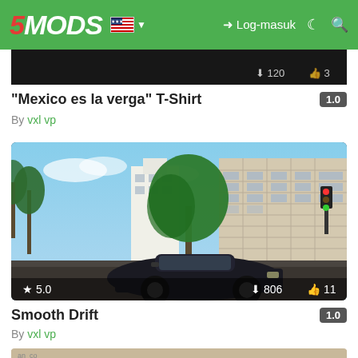5MODS — Log-masuk
[Figure (screenshot): Partially visible dark game screenshot with download count 120 and likes 3]
"Mexico es la verga" T-Shirt 1.0
By vxl vp
[Figure (screenshot): GTA V style city scene with a dark sports car, palm trees, buildings, traffic lights. Rating 5.0, downloads 806, likes 11]
Smooth Drift 1.0
By vxl vp
[Figure (screenshot): Partial bottom strip showing beige/tan colored game screenshot with partially visible label text]